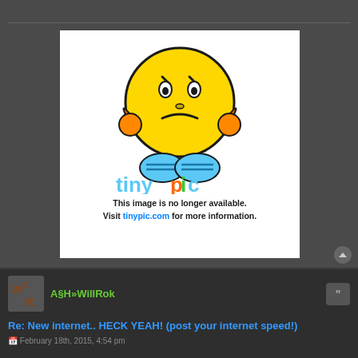[Figure (screenshot): TinyPic error image showing a frustrated yellow emoji smiley face with orange hands covering its face, blue shoe-like feet, and the TinyPic logo. Text reads: 'This image is no longer available. Visit tinypic.com for more information.']
A§H»WillRok
Re: New internet.. HECK YEAH! (post your internet speed!)
February 18th, 2015, 4:54 pm